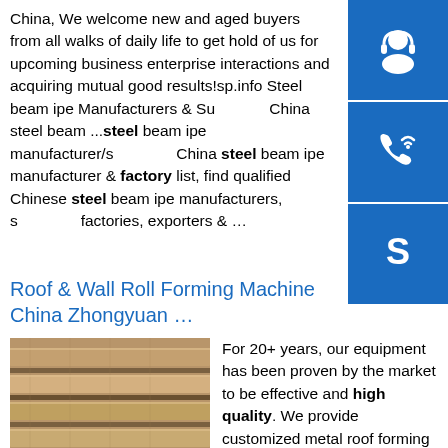China, We welcome new and aged buyers from all walks of daily life to get hold of us for upcoming business enterprise interactions and acquiring mutual good results!sp.info Steel beam ipe Manufacturers & Suppliers, China steel beam ...steel beam ipe manufacturer/suppliers, China steel beam ipe manufacturer & factory list, find qualified Chinese steel beam ipe manufacturers, suppliers, factories, exporters & …
[Figure (infographic): Sidebar with three blue icon buttons: headset/support icon, phone icon, and Skype icon]
Roof & Wall Roll Forming Machine China Zhongyuan …
[Figure (photo): Steel I-beams/IPE beams stacked together, metallic brown/silver color]
For 20+ years, our equipment has been proven by the market to be effective and high quality. We provide customized metal roof forming machine based on our design team and professional engineers! We offer a wide range of different